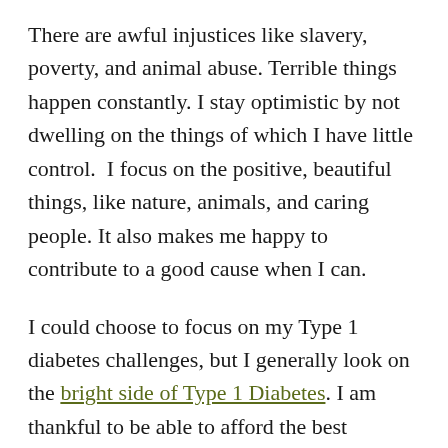There are awful injustices like slavery, poverty, and animal abuse. Terrible things happen constantly. I stay optimistic by not dwelling on the things of which I have little control.  I focus on the positive, beautiful things, like nature, animals, and caring people. It also makes me happy to contribute to a good cause when I can.
I could choose to focus on my Type 1 diabetes challenges, but I generally look on the bright side of Type 1 Diabetes. I am thankful to be able to afford the best medical equipment, and I am thankful to be alive and generally healthy.